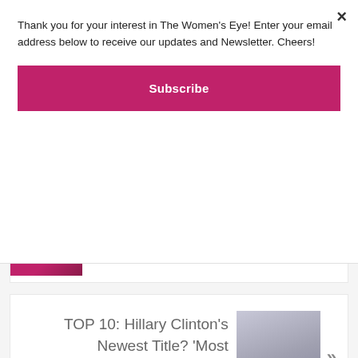Thank you for your interest in The Women's Eye! Enter your email address below to receive our updates and Newsletter. Cheers!
Subscribe
Weeks After Accident
TOP 10: Hillary Clinton's Newest Title? ‘Most Admired Woman’ in the World
Leave a Reply